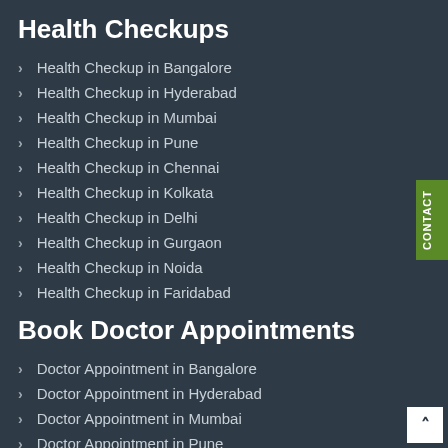Health Checkups
Health Checkup in Bangalore
Health Checkup in Hyderabad
Health Checkup in Mumbai
Health Checkup in Pune
Health Checkup in Chennai
Health Checkup in Kolkata
Health Checkup in Delhi
Health Checkup in Gurgaon
Health Checkup in Noida
Health Checkup in Faridabad
Book Doctor Appointments
Doctor Appointment in Bangalore
Doctor Appointment in Hyderabad
Doctor Appointment in Mumbai
Doctor Appointment in Pune
Doctor Appointment in Chennai